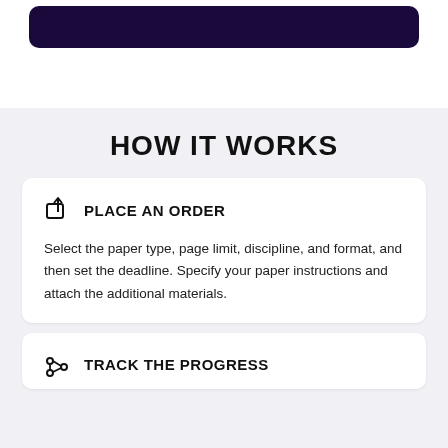[Figure (illustration): Dark navy/purple rounded rectangle banner at top of page]
HOW IT WORKS
PLACE AN ORDER
Select the paper type, page limit, discipline, and format, and then set the deadline. Specify your paper instructions and attach the additional materials.
TRACK THE PROGRESS